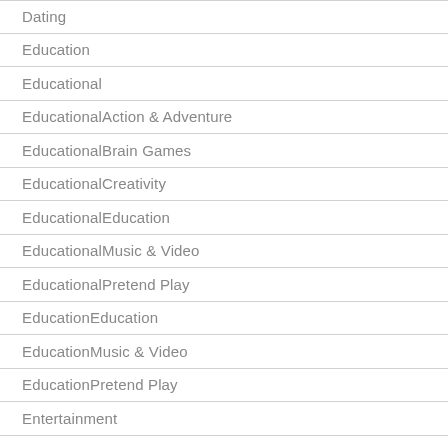Dating
Education
Educational
EducationalAction & Adventure
EducationalBrain Games
EducationalCreativity
EducationalEducation
EducationalMusic & Video
EducationalPretend Play
EducationEducation
EducationMusic & Video
EducationPretend Play
Entertainment